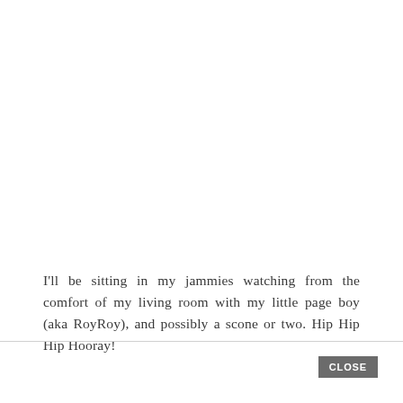I'll be sitting in my jammies watching from the comfort of my living room with my little page boy (aka RoyRoy), and possibly a scone or two. Hip Hip Hip Hooray!